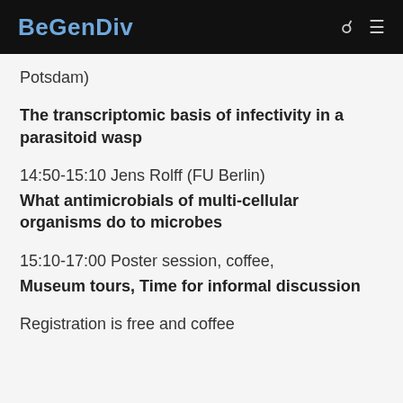BeGenDiv
Potsdam)
The transcriptomic basis of infectivity in a parasitoid wasp
14:50-15:10 Jens Rolff (FU Berlin)
What antimicrobials of multi-cellular organisms do to microbes
15:10-17:00 Poster session, coffee, Museum tours, Time for informal discussion
Registration is free and coffee